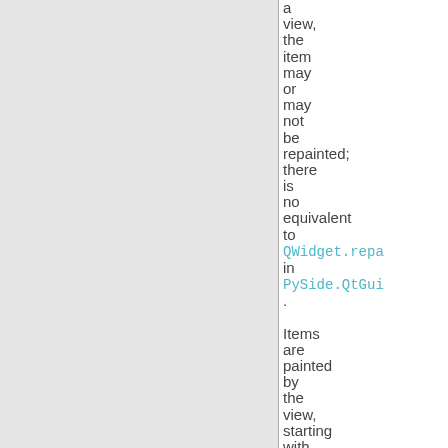a view, the item may or may not be repainted; there is no equivalent to QWidget.repaint in PySide.QtGui. Items are painted by the view, starting with the parent items and then